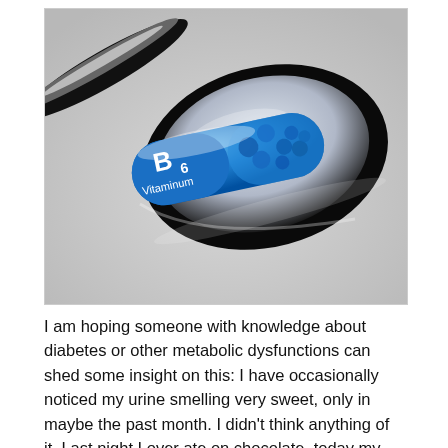[Figure (photo): A 3D rendered image of a black spoon containing a blue capsule pill labeled 'B6 Vitaminum', with small blue spherical beads visible inside the transparent capsule, set against a light gray background.]
I am hoping someone with knowledge about diabetes or other metabolic dysfunctions can shed some insight on this: I have occasionally noticed my urine smelling very sweet, only in maybe the past month. I didn't think anything of it. Last night I over ate on chocolate, today my urine smells super sweet. So, I decide maybe I should google this and see